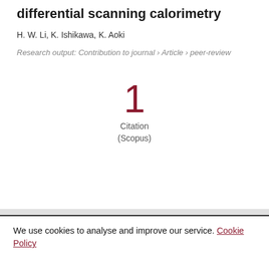differential scanning calorimetry
H. W. Li, K. Ishikawa, K. Aoki
Research output: Contribution to journal › Article › peer-review
1 Citation (Scopus)
We use cookies to analyse and improve our service. Cookie Policy